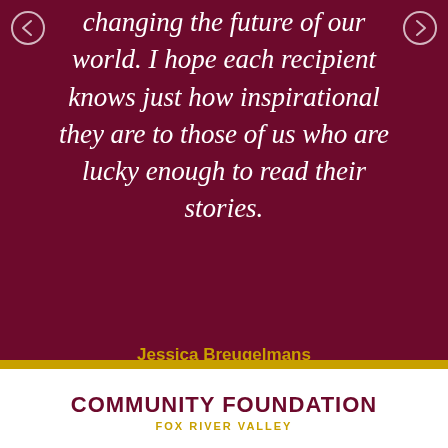changing the future of our world. I hope each recipient knows just how inspirational they are to those of us who are lucky enough to read their stories.
Jessica Breugelmans
Board Member & Scholarship Committee Member
COMMUNITY FOUNDATION FOX RIVER VALLEY